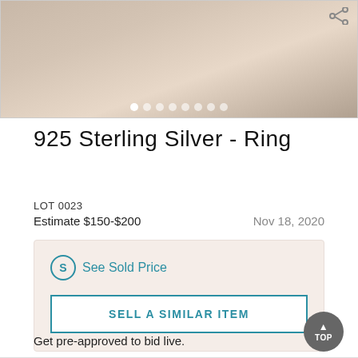[Figure (photo): Product photo of a 925 Sterling Silver ring, partial view showing metallic ring with gemstone, on light gray background. Image carousel with 8 dot indicators and a share icon.]
925 Sterling Silver - Ring
LOT 0023
Estimate $150-$200   Nov 18, 2020
See Sold Price
SELL A SIMILAR ITEM
Get pre-approved to bid live.